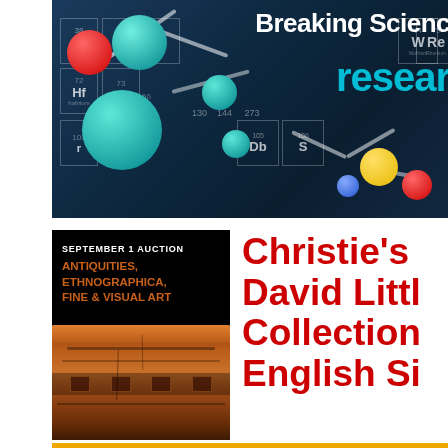[Figure (photo): Science banner image showing molecular models (3D atom/molecule balls in teal, red, yellow, blue) against a periodic table of elements background in dark blue tones. Text reads 'Breaking Science' and 'research' in cyan.]
[Figure (photo): Christie's auction poster for September 1 Auction – Antiquities, Ethnographica, Fine & Visual Art, featuring a close-up photo of an ancient ceramic/terracotta vessel with orange-brown coloring and geometric decorations. Next to it large red text reads 'Christie's David Little Collection English Si...' with a gold underline.]